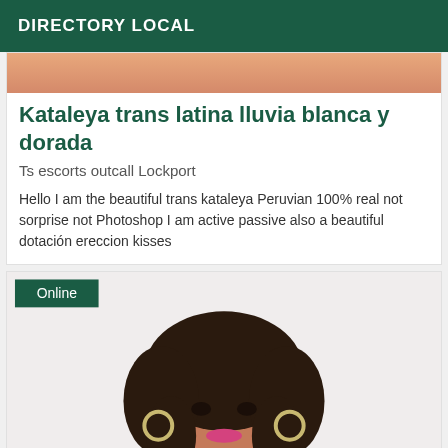DIRECTORY LOCAL
[Figure (photo): Top cropped photo showing warm-toned skin, partial image of a person]
Kataleya trans latina lluvia blanca y dorada
Ts escorts outcall Lockport
Hello I am the beautiful trans kataleya Peruvian 100% real not sorprise not Photoshop I am active passive also a beautiful dotación ereccion kisses
[Figure (photo): Portrait photo of a trans Latina woman with dark wavy hair, pink lipstick, large hoop earrings, wearing a black outfit with gold necklace, posed against a white background. An 'Online' badge appears in the top-left corner.]